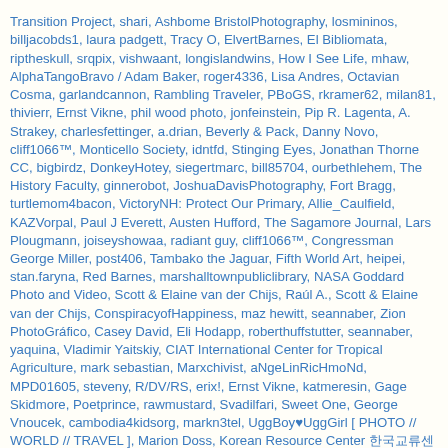Transition Project, shari, Ashbome BristolPhotography, losmininos, billjacobds1, laura padgett, Tracy O, ElvertBarnes, El Bibliomata, riptheskull, srqpix, vishwaant, longislandwins, How I See Life, mhaw, AlphaTangoBravo / Adam Baker, roger4336, Lisa Andres, Octavian Cosma, garlandcannon, Rambling Traveler, PBoGS, rkramer62, milan81, thivierr, Ernst Vikne, phil wood photo, jonfeinstein, Pip R. Lagenta, A. Strakey, charlesfettinger, a.drian, Beverly & Pack, Danny Novo, cliff1066™, Monticello Society, idntfd, Stinging Eyes, Jonathan Thorne CC, bigbirdz, DonkeyHotey, siegertmarc, bill85704, ourbethlehem, The History Faculty, ginnerobot, JoshuaDavisPhotography, Fort Bragg, turtlemom4bacon, VictoryNH: Protect Our Primary, Allie_Caulfield, KAZVorpal, Paul J Everett, Austen Hufford, The Sagamore Journal, Lars Plougmann, joiseyshowaa, radiant guy, cliff1066™, Congressman George Miller, post406, Tambako the Jaguar, Fifth World Art, heipei, stan.faryna, Red Barnes, marshalltownpubliclibrary, NASA Goddard Photo and Video, Scott & Elaine van der Chijs, Raúl A., Scott & Elaine van der Chijs, ConspiracyofHappiness, maz hewitt, seannaber, Zion PhotoGráfico, Casey David, Eli Hodapp, roberthuffstutter, seannaber, yaquina, Vladimir Yaitskiy, CIAT International Center for Tropical Agriculture, mark sebastian, Marxchivist, aNgeLinRicHmoNd, MPD01605, steveny, R/DV/RS, erix!, Ernst Vikne, katmeresin, Gage Skidmore, Poetprince, rawmustard, Svadilfari, Sweet One, George Vnoucek, cambodia4kidsorg, markn3tel, UggBoy♥UggGirl [ PHOTO // WORLD // TRAVEL ], Marion Doss, Korean Resource Center 한국교류센터, Octavian Cosma, lilivanili, krossbow, DonkeyHotey, LizMarie_AK, Matt From London, Vote Marc Moffitt, soundfromwayout, comedy_nose, Worldizen, phileole, Siena College, thivierr, edalisse, Muffet, r w h, betancourt, Obama-Biden Transition Project, MelvinSchlubman, L.C.Nøttaasen, vicki moore, North Charleston, stephane333, srslyguys, acornchief, 28misguidedsouls, Peter McCarthy, Lucid Nightmare, AlicePopkorn, C_Baltrusch, Alex E. Proimos, Robby van Moor, Bengt Nyman, Loren Javier, dfred, Wendy Piersall, dgj103, stevegatto2, Mitya Kuznetsov, Ivy Dawned, gregwest98, Chris_Short, Bob Jagendorf, B Mully, Palinopsia_Films, Thriving Ink, jvoves, spakattacks, technoevangelist,